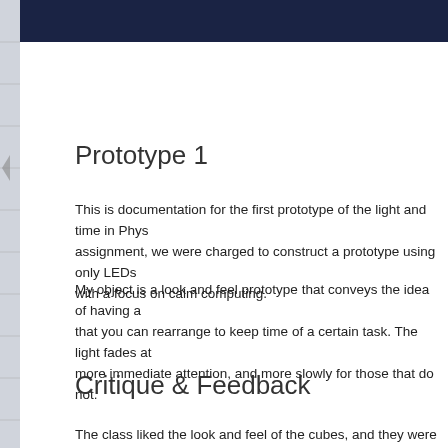Prototype 1
This is documentation for the first prototype of the light and time in Phys… assignment, we were charged to construct a prototype using only LEDs… with a focus on calm computing.
My object is a look and feel prototype that conveys the idea of having a… that you can rearrange to keep time of a certain task. The light fades at… more immediate attention, and more slowly for those that do not.
Critique & Feedback
The class liked the look and feel of the cubes, and they were responsive… was concern, however, that as a set of objects acting as an ambient tas… than relieve mental stress since s/he would have to remember what eac… with programming the cube when the task changed. While this issue co… ways, I think I am going to drop the concept of task manager in favor of…